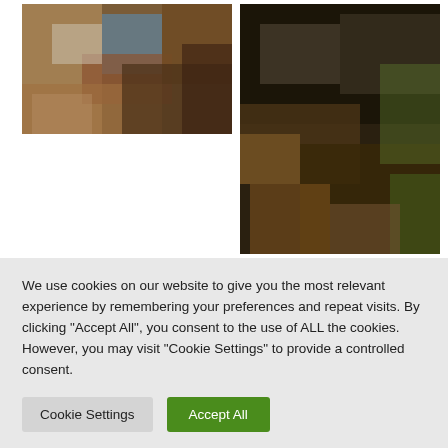[Figure (photo): Abstract oil painting of Bundoran Bay, textured browns, blues, and oranges]
[Figure (photo): Abstract painting On The Rocks, dark tones of black, brown and green rocky texture]
Bundoran Bay
Size: Medium
Oil on Canvas
On The Rocks
Size: Small
Printing
We use cookies on our website to give you the most relevant experience by remembering your preferences and repeat visits. By clicking "Accept All", you consent to the use of ALL the cookies. However, you may visit "Cookie Settings" to provide a controlled consent.